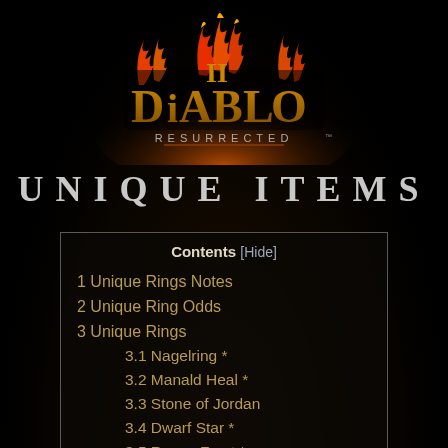[Figure (logo): Diablo II Resurrected logo with fire and stylized text]
UNIQUE ITEMS
| Contents [Hide] |
| 1 Unique Rings Notes |
| 2 Unique Ring Odds |
| 3 Unique Rings |
| 3.1 Nagelring * |
| 3.2 Manald Heal * |
| 3.3 Stone of Jordan |
| 3.4 Dwarf Star * |
| 3.5 Raven Frost * |